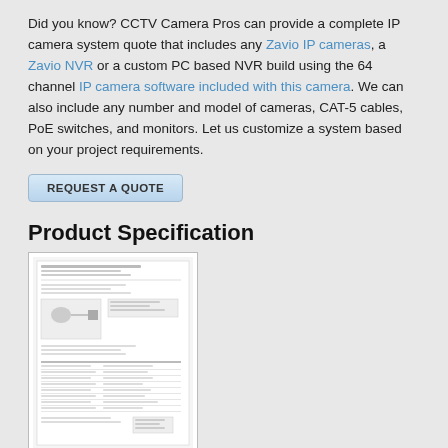Did you know? CCTV Camera Pros can provide a complete IP camera system quote that includes any Zavio IP cameras, a Zavio NVR or a custom PC based NVR build using the 64 channel IP camera software included with this camera. We can also include any number and model of cameras, CAT-5 cables, PoE switches, and monitors. Let us customize a system based on your project requirements.
[Figure (other): A button labeled REQUEST A QUOTE with light blue gradient background]
Product Specification
[Figure (screenshot): Thumbnail image of a product specification sheet document with text and diagrams]
PoE for IP Camera
This IP camera is PoE (power over Ethernet) compliant which allows the installer to run a single CAT-5e cable to provide both power and data connectivity to the camera. CCTV Camera Pros supplies the following PoE injectors and PoE network switches which are compatible with this camera.